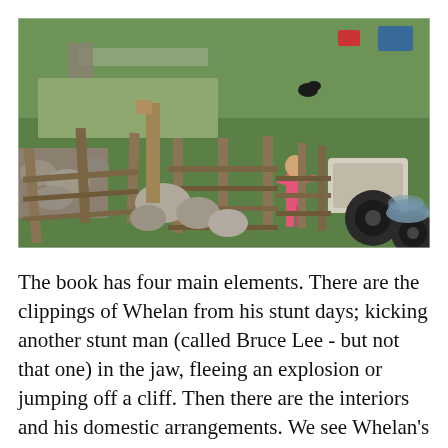[Figure (photo): Outdoor photograph taken from above showing a grassy field area with wooden fencing/gate structure, large rocks, a child in pink clothing standing at the gate, scattered items including car tires, rope, and various debris. A black cat visible in the background on the grass.]
The book has four main elements. There are the clippings of Whelan from his stunt days; kicking another stunt man (called Bruce Lee - but not that one) in the jaw, fleeing an explosion or jumping off a cliff. Then there are the interiors and his domestic arrangements. We see Whelan's worn-out deck of cards, a rusty screw sticking through his caravan wall